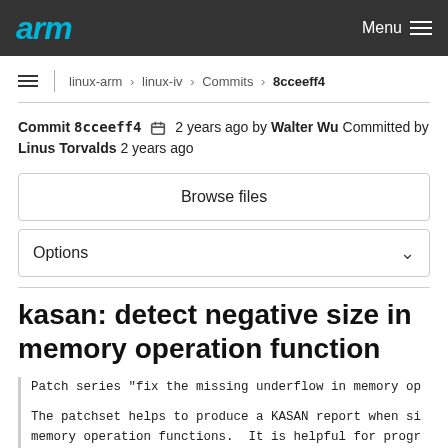arm | Menu
linux-arm > linux-iv > Commits > 8cceeff4
Commit 8cceeff4  2 years ago by Walter Wu Committed by Linus Torvalds 2 years ago
Browse files
Options
kasan: detect negative size in memory operation function
Patch series "fix the missing underflow in memory op

The patchset helps to produce a KASAN report when si memory operation functions.  It is helpful for progr